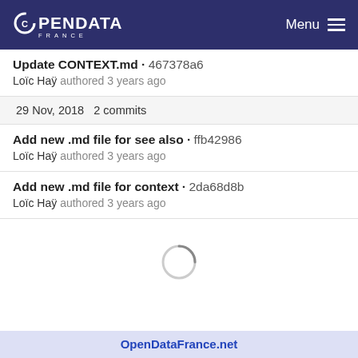OPENDATA FRANCE — Menu
Update CONTEXT.md · 467378a6
Loïc Haÿ authored 3 years ago
29 Nov, 2018 2 commits
Add new .md file for see also · ffb42986
Loïc Haÿ authored 3 years ago
Add new .md file for context · 2da68d8b
Loïc Haÿ authored 3 years ago
[Figure (other): Loading spinner — circular arc indicating content loading]
OpenDataFrance.net